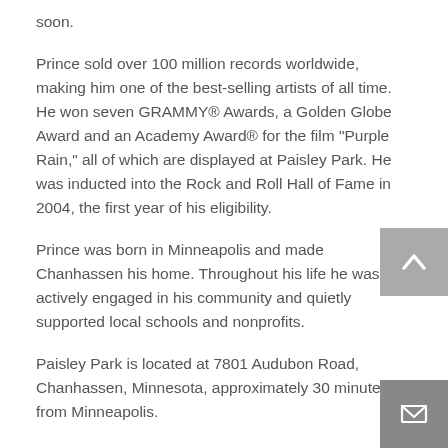soon.
Prince sold over 100 million records worldwide, making him one of the best-selling artists of all time. He won seven GRAMMY® Awards, a Golden Globe Award and an Academy Award® for the film “Purple Rain,” all of which are displayed at Paisley Park. He was inducted into the Rock and Roll Hall of Fame in 2004, the first year of his eligibility.
Prince was born in Minneapolis and made Chanhassen his home. Throughout his life he was actively engaged in his community and quietly supported local schools and nonprofits.
Paisley Park is located at 7801 Audubon Road, Chanhassen, Minnesota, approximately 30 minutes from Minneapolis.